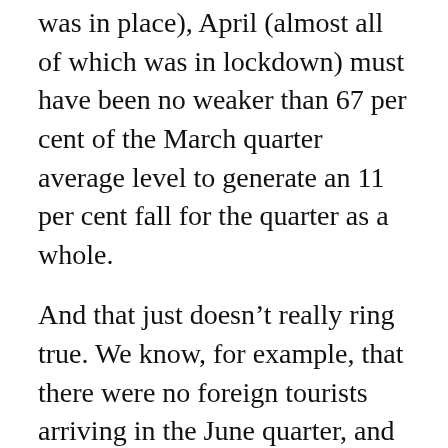was in place), April (almost all of which was in lockdown) must have been no weaker than 67 per cent of the March quarter average level to generate an 11 per cent fall for the quarter as a whole.
And that just doesn't really ring true. We know, for example, that there were no foreign tourists arriving in the June quarter, and levels 2 and 3 restrictions were in place for quite a while. We know too the firms that swore they met the legal requirements for the extended wage subsidy.
If instead, and for example, we assume that May and June were back up to 95 and 97 per cent respectively of March quarter levels of